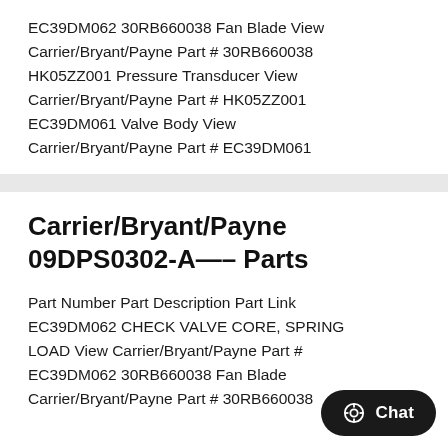EC39DM062 30RB660038 Fan Blade View Carrier/Bryant/Payne Part # 30RB660038 HK05ZZ001 Pressure Transducer View Carrier/Bryant/Payne Part # HK05ZZ001 EC39DM061 Valve Body View Carrier/Bryant/Payne Part # EC39DM061
Carrier/Bryant/Payne 09DPS0302-A—– Parts
Part Number Part Description Part Link EC39DM062 CHECK VALVE CORE, SPRING LOAD View Carrier/Bryant/Payne Part # EC39DM062 30RB660038 Fan Blade View Carrier/Bryant/Payne Part # 30RB660038